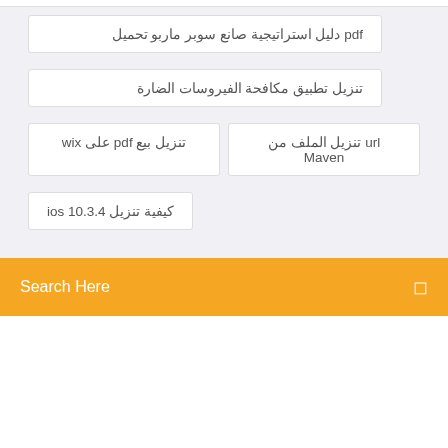pdf دليل استراتيجية صانع سوبر ماربو تحميل
تنزيل تطبيق مكافحة الفيروسات الضارة
تنزيل بيع pdf على wix
url تنزيل الملف من Maven
كيفية تنزيل ios 10.3.4
Search Here
Photography blog